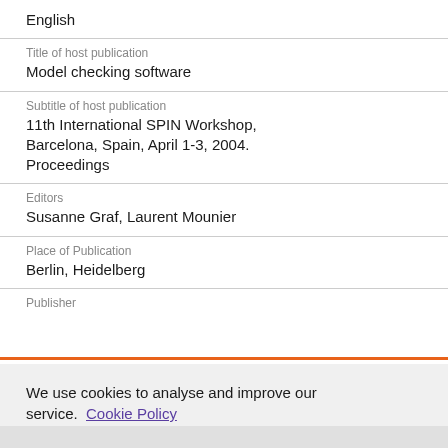English
Title of host publication
Model checking software
Subtitle of host publication
11th International SPIN Workshop, Barcelona, Spain, April 1-3, 2004. Proceedings
Editors
Susanne Graf, Laurent Mounier
Place of Publication
Berlin, Heidelberg
Publisher
We use cookies to analyse and improve our service. Cookie Policy